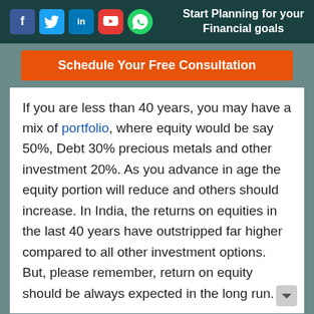Start Planning for your Financial goals
[Figure (other): Social media icons: Facebook, Twitter, LinkedIn, YouTube, WhatsApp]
Schedule Your Free Consultation
If you are less than 40 years, you may have a mix of portfolio, where equity would be say 50%, Debt 30% precious metals and other investment 20%. As you advance in age the equity portion will reduce and others should increase. In India, the returns on equities in the last 40 years have outstripped far higher compared to all other investment options. But, please remember, return on equity should be always expected in the long run.